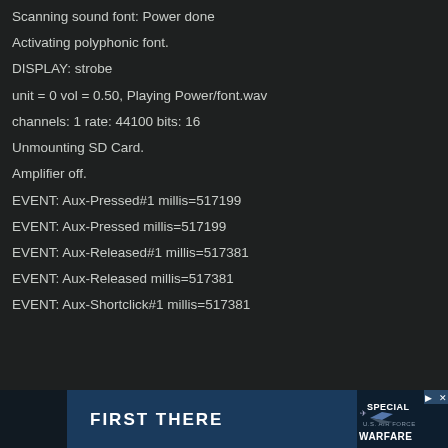Scanning sound font: Power done
Activating polyphonic font.
DISPLAY: strobe
unit = 0 vol = 0.50, Playing Power/font.wav
channels: 1 rate: 44100 bits: 16
Unmounting SD Card.
Amplifier off.
EVENT: Aux-Pressed#1 millis=517199
EVENT: Aux-Pressed millis=517199
EVENT: Aux-Released#1 millis=517381
EVENT: Aux-Released millis=517381
EVENT: Aux-Shortclick#1 millis=517381
[Figure (other): Advertisement banner: FIRST THERE | US Air Force logo | SPECIAL WARFARE]